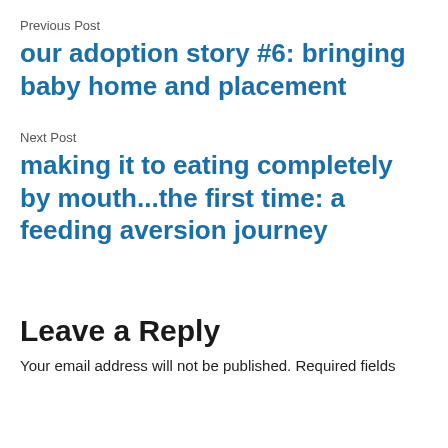Previous Post
our adoption story #6: bringing baby home and placement
Next Post
making it to eating completely by mouth...the first time: a feeding aversion journey
Leave a Reply
Your email address will not be published. Required fields